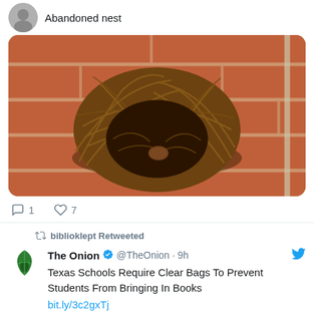Abandoned nest
[Figure (photo): Photo of an abandoned bird nest made of twigs and grass sitting against a brick wall]
1  7
biblioklept Retweeted
The Onion @TheOnion · 9h
Texas Schools Require Clear Bags To Prevent Students From Bringing In Books
bit.ly/3c2gxTj
[Figure (photo): Photo of students standing outside, seen from behind, with trees and utility poles in background]